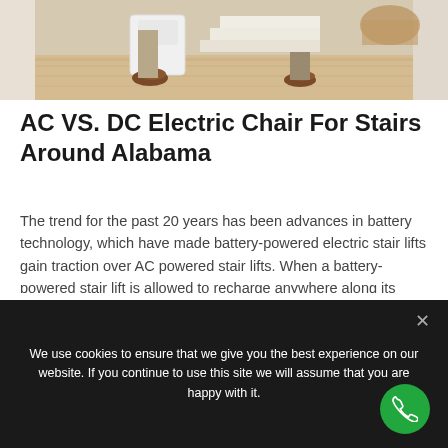[Figure (photo): Photo of a stair lift at the bottom of a staircase — shoes and legs of a person visible on the stairs, wooden floor, white trim.]
AC VS. DC Electric Chair For Stairs Around Alabama
The trend for the past 20 years has been advances in battery technology, which have made battery-powered electric stair lifts gain traction over AC powered stair lifts. When a battery-powered stair lift is allowed to recharge anywhere along its path, you will never have to experience a dead battery.
We use cookies to ensure that we give you the best experience on our website. If you continue to use this site we will assume that you are happy with it.